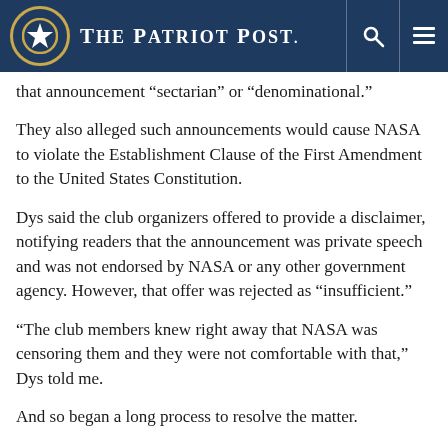The Patriot Post
that announcement “sectarian” or “denominational.”
They also alleged such announcements would cause NASA to violate the Establishment Clause of the First Amendment to the United States Constitution.
Dys said the club organizers offered to provide a disclaimer, notifying readers that the announcement was private speech and was not endorsed by NASA or any other government agency. However, that offer was rejected as “insufficient.”
“The club members knew right away that NASA was censoring them and they were not comfortable with that,” Dys told me.
And so began a long process to resolve the matter.